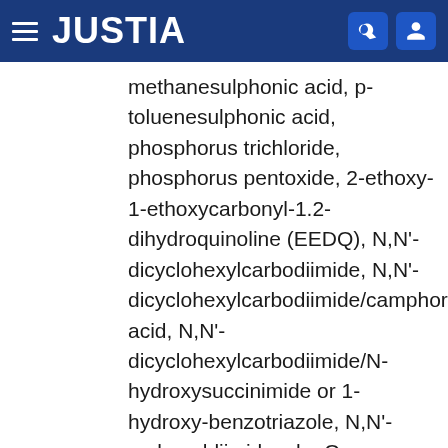JUSTIA
methanesulphonic acid, p-toluenesulphonic acid, phosphorus trichloride, phosphorus pentoxide, 2-ethoxy-1-ethoxycarbonyl-1.2-dihydroquinoline (EEDQ), N,N'-dicyclohexylcarbodiimide, N,N'-dicyclohexylcarbodiimide/camphorsu acid, N,N'-dicyclohexylcarbodiimide/N-hydroxysuccinimide or 1-hydroxy-benzotriazole, N,N'-carbonyldiimidazole, O-(benzotriazol-1-yl)-N,N,N',N'-tetramethyl-uronium tetrafluoroborate/N-methylmorpholine, O-(benzotriazol-1-yl)-N,N,N', N'-